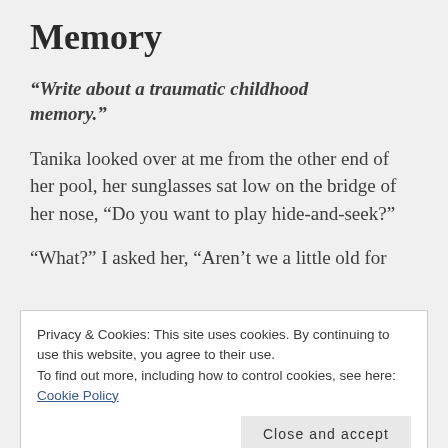Memory
“Write about a traumatic childhood memory.”
Tanika looked over at me from the other end of her pool, her sunglasses sat low on the bridge of her nose, “Do you want to play hide-and-seek?”
“What?” I asked her, “Aren’t we a little old for
Privacy & Cookies: This site uses cookies. By continuing to use this website, you agree to their use.
To find out more, including how to control cookies, see here: Cookie Policy
Unfortunately, I don’t remember her brother’s